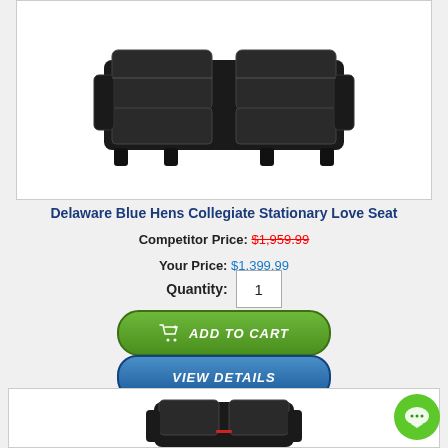[Figure (photo): Black leather love seat sofa viewed from front angle, shown in a white-bordered product box]
Delaware Blue Hens Collegiate Stationary Love Seat
Competitor Price: $1,959.99
Your Price: $1,399.99
Quantity: 1
[Figure (other): Green ADD TO CART button with shopping cart icon]
[Figure (other): Blue VIEW DETAILS button]
Delaware Blue Hens Collegiate Stationary Love Seat
[Figure (other): Green FREE SHIPPING banner with truck icon]
[Figure (photo): Black leather recliner/sofa, bottom portion visible in second product box]